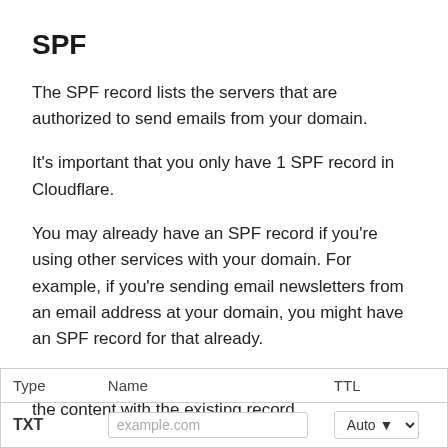SPF
The SPF record lists the servers that are authorized to send emails from your domain.
It's important that you only have 1 SPF record in Cloudflare.
You may already have an SPF record if you're using other services with your domain. For example, if you're sending email newsletters from an email address at your domain, you might have an SPF record for that already.
So to add your email provider, you'll want to merge the content with the existing record.
| Type | Name | TTL |
| --- | --- | --- |
| TXT | example.com | Auto |